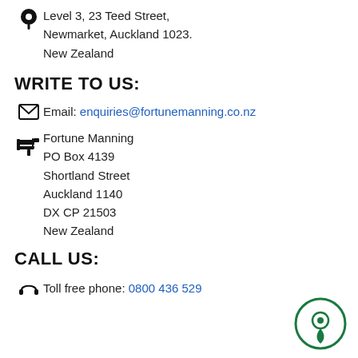Level 3, 23 Teed Street, Newmarket, Auckland 1023. New Zealand
WRITE TO US:
Email: enquiries@fortunemanning.co.nz
Fortune Manning
PO Box 4139
Shortland Street
Auckland 1140
DX CP 21503
New Zealand
CALL US:
Toll free phone: 0800 436 529